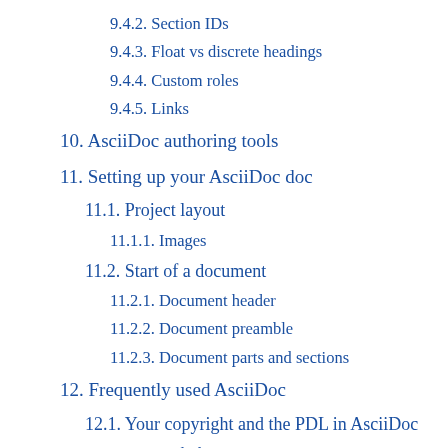9.4.2. Section IDs
9.4.3. Float vs discrete headings
9.4.4. Custom roles
9.4.5. Links
10. AsciiDoc authoring tools
11. Setting up your AsciiDoc doc
11.1. Project layout
11.1.1. Images
11.2. Start of a document
11.2.1. Document header
11.2.2. Document preamble
11.2.3. Document parts and sections
12. Frequently used AsciiDoc
12.1. Your copyright and the PDL in AsciiDoc
12.1.1. Including a Document History in AsciiDoc
12.1.2. A copyright notice at the start in AsciiDoc